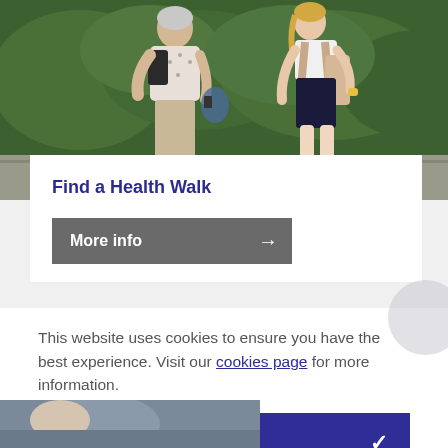[Figure (photo): Two people walking outdoors in front of a green hedge. An older person on the left wearing a light patterned top, and a younger person on the right wearing a red top and dark skirt with a backpack.]
Find a Health Walk
More info →
This website uses cookies to ensure you have the best experience. Visit our cookies page for more information.
Accept ✓
[Figure (photo): Partial view of a photo at the bottom of the page, showing a person outdoors.]